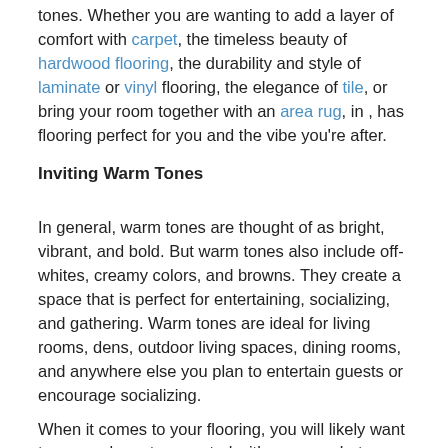tones. Whether you are wanting to add a layer of comfort with carpet, the timeless beauty of hardwood flooring, the durability and style of laminate or vinyl flooring, the elegance of tile, or bring your room together with an area rug, in , has flooring perfect for you and the vibe you're after.
Inviting Warm Tones
In general, warm tones are thought of as bright, vibrant, and bold. But warm tones also include off-whites, creamy colors, and browns. They create a space that is perfect for entertaining, socializing, and gathering. Warm tones are ideal for living rooms, dens, outdoor living spaces, dining rooms, and anywhere else you plan to entertain guests or encourage socializing.
When it comes to your flooring, you will likely want to move closer to a neutral with warm undertones as opposed to a bright color on your floor. Save the bright reds, oranges, and yellows as an accent color, such as a rug, throw pillows, or even an accent wall. If you want a